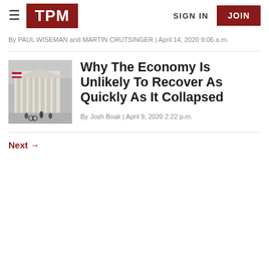TPM | SIGN IN | JOIN
By PAUL WISEMAN and MARTIN CRUTSINGER | April 14, 2020 9:06 a.m.
[Figure (photo): Photo of a large classical building (likely a stock exchange or financial institution) with people and bicyclists on the street in front, and an American flag visible.]
Why The Economy Is Unlikely To Recover As Quickly As It Collapsed
By Josh Boak | April 9, 2020 2:22 p.m.
Next →